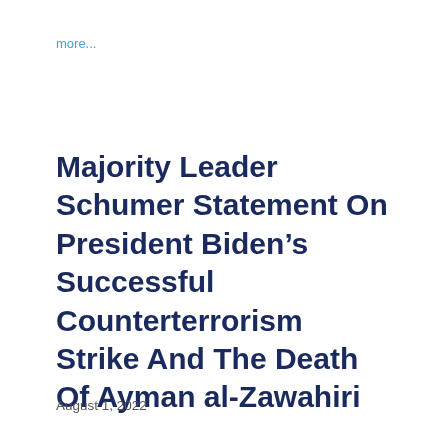more...
Majority Leader Schumer Statement On President Biden’s Successful Counterterrorism Strike And The Death Of Ayman al-Zawahiri
August 1, 2022